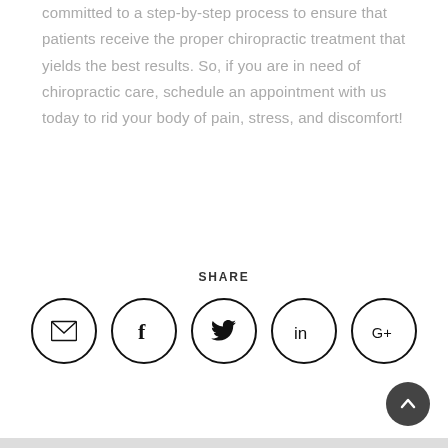committed to a step-by-step process to ensure that patients receive the proper chiropractic treatment that yields the best results. So, if you are in need of chiropractic care, schedule an appointment with us today to rid your body of pain, stress, and discomfort!
SHARE
[Figure (infographic): Row of five circular social share icon buttons: email (envelope), Facebook (f), Twitter (bird), LinkedIn (in), Google+ (G+)]
[Figure (infographic): Dark circular back-to-top button with upward chevron arrow, bottom-right corner]